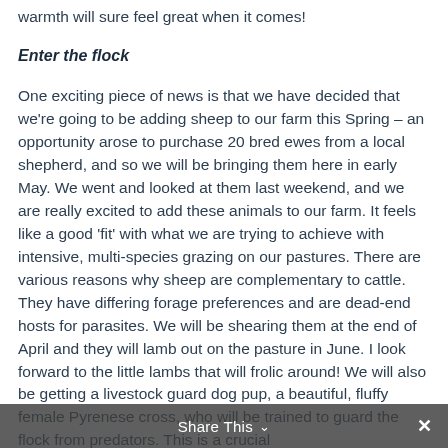warmth will sure feel great when it comes!
Enter the flock
One exciting piece of news is that we have decided that we're going to be adding sheep to our farm this Spring – an opportunity arose to purchase 20 bred ewes from a local shepherd, and so we will be bringing them here in early May. We went and looked at them last weekend, and we are really excited to add these animals to our farm. It feels like a good 'fit' with what we are trying to achieve with intensive, multi-species grazing on our pastures. There are various reasons why sheep are complementary to cattle. They have differing forage preferences and are dead-end hosts for parasites. We will be shearing them at the end of April and they will lamb out on the pasture in June. I look forward to the little lambs that will frolic around! We will also be getting a livestock guard dog pup, a beautiful, fluffy female Pyrenese cross, who will be trained to guard the flock from predators. This is a crucial
Share This